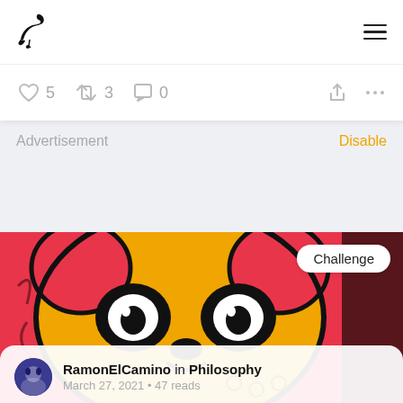Vocal Media logo and hamburger menu
♡ 5  ↻ 3  ☐ 0  [share]  [more]
Advertisement  Disable
[Figure (photo): Colorful pop-art style painting of a dog/panda with pink and yellow colors, black outlines]
Challenge
RamonElCamino in Philosophy
March 27, 2021 • 47 reads